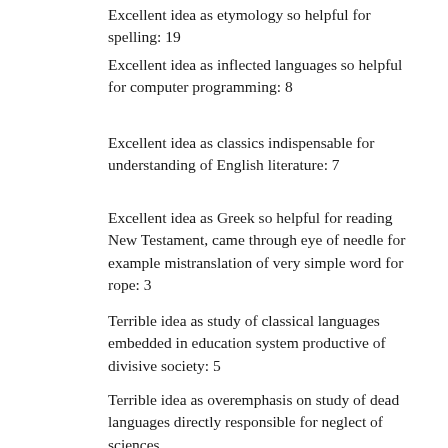Excellent idea as etymology so helpful for spelling: 19
Excellent idea as inflected languages so helpful for computer programming: 8
Excellent idea as classics indispensable for understanding of English literature: 7
Excellent idea as Greek so helpful for reading New Testament, came through eye of needle for example mistranslation of very simple word for rope: 3
Terrible idea as study of classical languages embedded in education system productive of divisive society: 5
Terrible idea as overemphasis on study of dead languages directly responsible for neglect of sciences